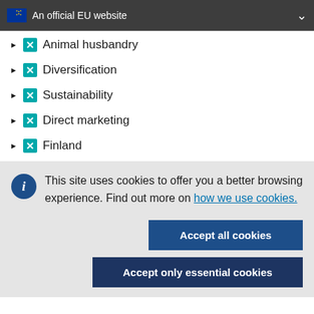An official EU website
Animal husbandry
Diversification
Sustainability
Direct marketing
Finland
This site uses cookies to offer you a better browsing experience. Find out more on how we use cookies.